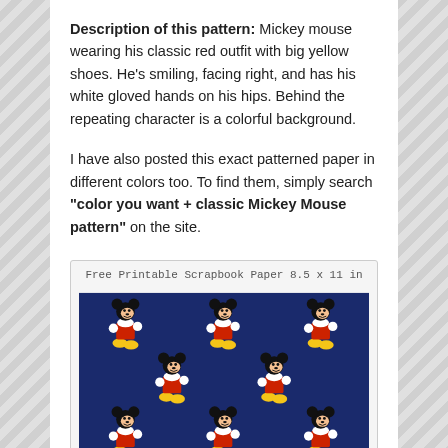Description of this pattern: Mickey mouse wearing his classic red outfit with big yellow shoes. He's smiling, facing right, and has his white gloved hands on his hips. Behind the repeating character is a colorful background.
I have also posted this exact patterned paper in different colors too. To find them, simply search "color you want + classic Mickey Mouse pattern" on the site.
[Figure (illustration): Preview of free printable scrapbook paper 8.5 x 11 in showing a navy blue background with repeating classic Mickey Mouse figures wearing red outfits and yellow shoes arranged in rows.]